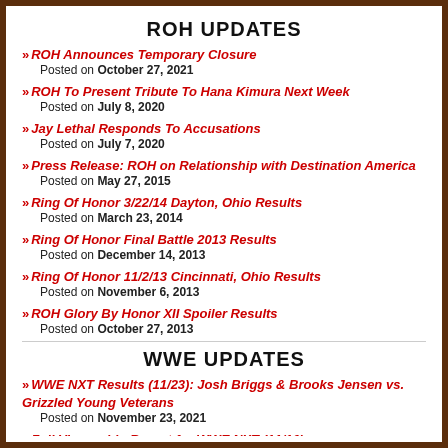ROH UPDATES
ROH Announces Temporary Closure
Posted on October 27, 2021
ROH To Present Tribute To Hana Kimura Next Week
Posted on July 8, 2020
Jay Lethal Responds To Accusations
Posted on July 7, 2020
Press Release: ROH on Relationship with Destination America
Posted on May 27, 2015
Ring Of Honor 3/22/14 Dayton, Ohio Results
Posted on March 23, 2014
Ring Of Honor Final Battle 2013 Results
Posted on December 14, 2013
Ring Of Honor 11/2/13 Cincinnati, Ohio Results
Posted on November 6, 2013
ROH Glory By Honor XII Spoiler Results
Posted on October 27, 2013
WWE UPDATES
WWE NXT Results (11/23): Josh Briggs & Brooks Jensen vs. Grizzled Young Veterans
Posted on November 23, 2021
Full Viewership Report for WWE NXT (11/16)
Posted on November 17, 2021